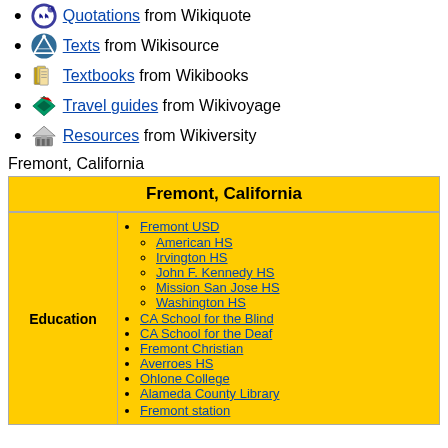Quotations from Wikiquote
Texts from Wikisource
Textbooks from Wikibooks
Travel guides from Wikivoyage
Resources from Wikiversity
Fremont, California
| Fremont, California |
| --- |
| Education | Fremont USD
American HS
Irvington HS
John F. Kennedy HS
Mission San Jose HS
Washington HS
CA School for the Blind
CA School for the Deaf
Fremont Christian
Averroes HS
Ohlone College
Alameda County Library
Fremont station |